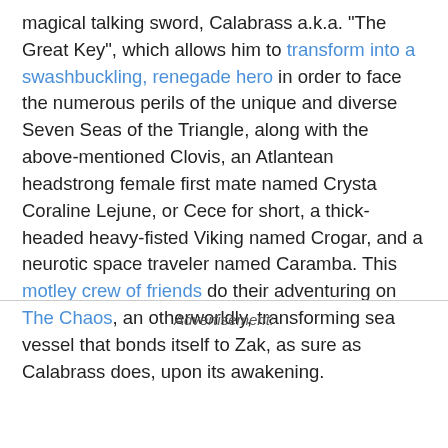magical talking sword, Calabrass a.k.a. "The Great Key", which allows him to transform into a swashbuckling, renegade hero in order to face the numerous perils of the unique and diverse Seven Seas of the Triangle, along with the above-mentioned Clovis, an Atlantean headstrong female first mate named Crysta Coraline Lejune, or Cece for short, a thick-headed heavy-fisted Viking named Crogar, and a neurotic space traveler named Caramba. This motley crew of friends do their adventuring on The Chaos, an otherworldly, transforming sea vessel that bonds itself to Zak, as sure as Calabrass does, upon its awakening.
Advertisement: